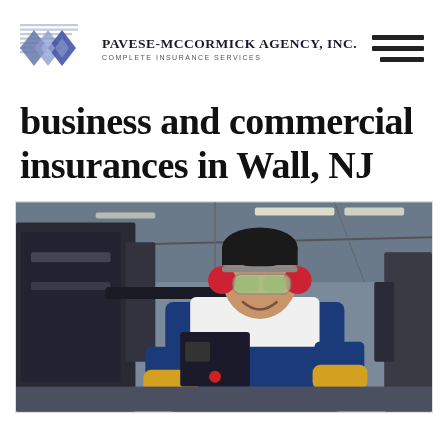Pavese-McCormick Agency, Inc. Complete Insurance Services
business and commercial insurances in Wall, NJ
[Figure (photo): A smiling male factory worker wearing safety goggles, ear protection, and a blue apron, working with industrial machinery in a manufacturing facility.]